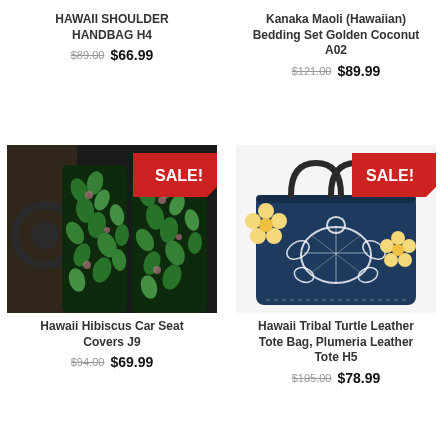HAWAII SHOULDER HANDBAG H4
$89.00  $66.99
Kanaka Maoli (Hawaiian) Bedding Set Golden Coconut A02
$121.00  $89.99
[Figure (photo): Car interior with two front seat covers featuring green hibiscus flower pattern on black background, with red SALE! badge]
[Figure (photo): Navy blue leather tote bag with white tribal turtle and yellow plumeria flowers design, with red SALE! badge]
Hawaii Hibiscus Car Seat Covers J9
$94.00  $69.99
Hawaii Tribal Turtle Leather Tote Bag, Plumeria Leather Tote H5
$105.00  $78.99